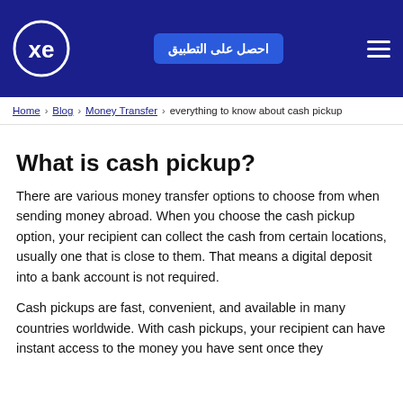xe — احصل على التطبيق — menu
Home > Blog > Money Transfer > everything to know about cash pickup
What is cash pickup?
There are various money transfer options to choose from when sending money abroad. When you choose the cash pickup option, your recipient can collect the cash from certain locations, usually one that is close to them. That means a digital deposit into a bank account is not required.
Cash pickups are fast, convenient, and available in many countries worldwide. With cash pickups, your recipient can have instant access to the money you have sent once they